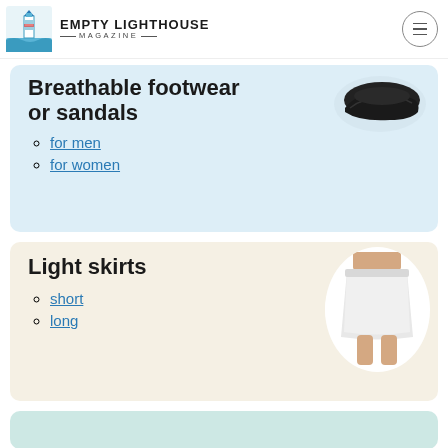Empty Lighthouse Magazine
Breathable footwear or sandals
for men
for women
Light skirts
short
long